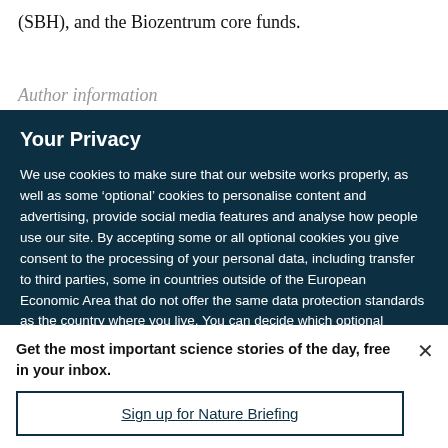(SBH), and the Biozentrum core funds.
Author information
Your Privacy
We use cookies to make sure that our website works properly, as well as some ‘optional’ cookies to personalise content and advertising, provide social media features and analyse how people use our site. By accepting some or all optional cookies you give consent to the processing of your personal data, including transfer to third parties, some in countries outside of the European Economic Area that do not offer the same data protection standards as the country where you live. You can decide which optional cookies to accept by clicking on ‘Manage Settings’, where you can
Get the most important science stories of the day, free in your inbox.
Sign up for Nature Briefing